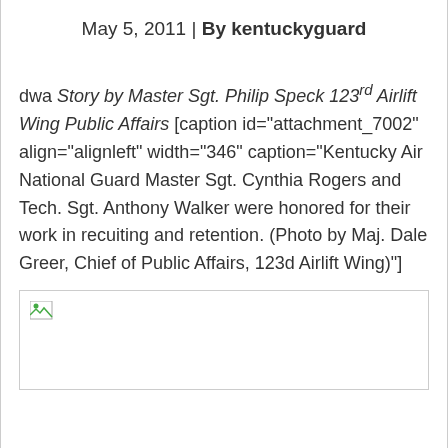May 5, 2011 | By kentuckyguard
dwa Story by Master Sgt. Philip Speck 123rd Airlift Wing Public Affairs [caption id="attachment_7002" align="alignleft" width="346" caption="Kentucky Air National Guard Master Sgt. Cynthia Rogers and Tech. Sgt. Anthony Walker were honored for their work in recuiting and retention. (Photo by Maj. Dale Greer, Chief of Public Affairs, 123d Airlift Wing)"]
[Figure (photo): Broken/missing image placeholder box]